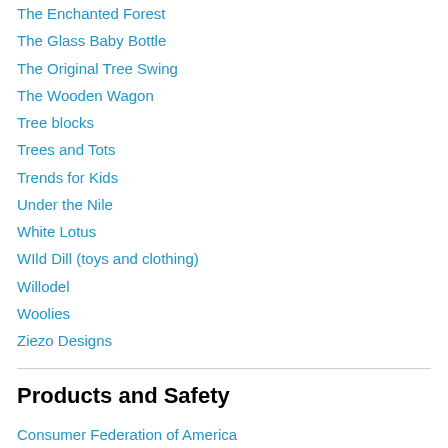The Enchanted Forest
The Glass Baby Bottle
The Original Tree Swing
The Wooden Wagon
Tree blocks
Trees and Tots
Trends for Kids
Under the Nile
White Lotus
WIld Dill (toys and clothing)
Willodel
Woolies
Ziezo Designs
Products and Safety
Consumer Federation of America
Consumer Law & Policy
Consumer Reports